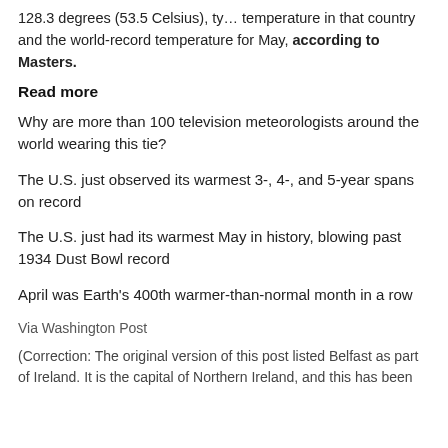128.3 degrees (53.5 Celsius), ty… temperature in that country and the world-record temperature for May, according to Masters.
Read more
Why are more than 100 television meteorologists around the world wearing this tie?
The U.S. just observed its warmest 3-, 4-, and 5-year spans on record
The U.S. just had its warmest May in history, blowing past 1934 Dust Bowl record
April was Earth's 400th warmer-than-normal month in a row
Via Washington Post
(Correction: The original version of this post listed Belfast as part of Ireland. It is the capital of Northern Ireland, and this has been